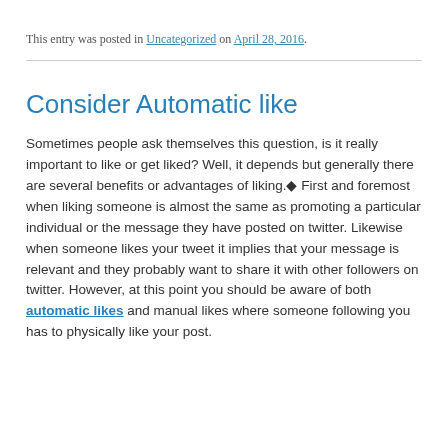This entry was posted in Uncategorized on April 28, 2016.
Consider Automatic like
Sometimes people ask themselves this question, is it really important to like or get liked? Well, it depends but generally there are several benefits or advantages of liking.◆ First and foremost when liking someone is almost the same as promoting a particular individual or the message they have posted on twitter. Likewise when someone likes your tweet it implies that your message is relevant and they probably want to share it with other followers on twitter. However, at this point you should be aware of both automatic likes and manual likes where someone following you has to physically like your post.